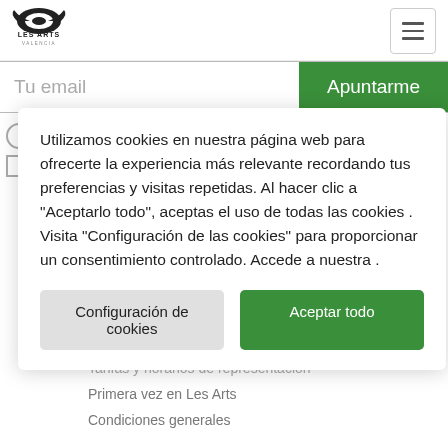[Figure (logo): Les Arts Valencia logo with stylized wing/arrow graphic above text LES ARTS VALENCIA]
[Figure (other): Hamburger menu button with three horizontal lines]
Tu email
Apuntarme
Utilizamos cookies en nuestra página web para ofrecerte la experiencia más relevante recordando tus preferencias y visitas repetidas. Al hacer clic a "Aceptarlo todo", aceptas el uso de todas las cookies . Visita "Configuración de las cookies" para proporcionar un consentimiento controlado. Accede a nuestra .
Configuración de cookies
Aceptar todo
Tarifas y horarios de representación
Primera vez en Les Arts
Condiciones generales
Visita Les Arts
El edificio